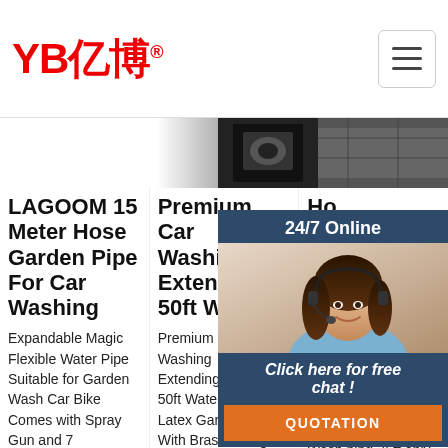YB亿博® — navigation header with hamburger menu
[Figure (screenshot): Partial product images strip showing dark/grey product backgrounds]
LAGOOM 15 Meter Hose Garden Pipe For Car Washing — Expandable Magic Flexible Water Pipe Suitable for Garden Wash Car Bike Comes with Spray Gun and 7 Adjustable Modes Flexible accordion design prevents kinks and tangling. shower, flat, centre, cone, full, mist, jet
Premium Car Washing Extendingretractable 50ft Water Pipe — Premium Car Washing Extendingretractable 50ft Water Pipe Latex Garden Hose With Brass Fittings, Find Complete Details about Premium Car Washing Extendingretractable 50ft Water Pipe Latex Garden Hose
Ho... Ga... Rit... Ex... Wa... ... Hot Hose Expandable Watering Hose Flexible Water Hose Garden Hose for Car Wash ping-75ft, only a... Hose : Amazon.co.uk: Garden & Outdoors
[Figure (screenshot): 24/7 Online chat widget with female customer service agent wearing headset, Click here for free chat!, QUOTATION button in orange]